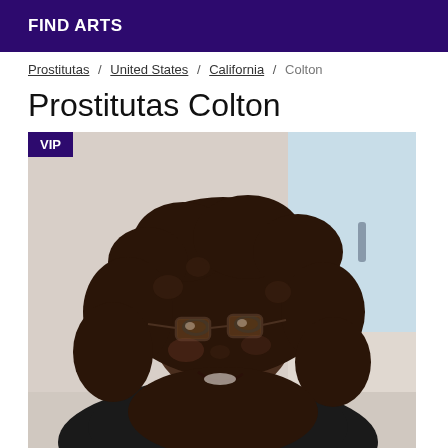FIND ARTS
Prostitutas / United States / California / Colton
Prostitutas Colton
[Figure (photo): A woman with curly hair and glasses smiling in a bathroom selfie. A VIP badge is shown in the top-left corner of the image.]